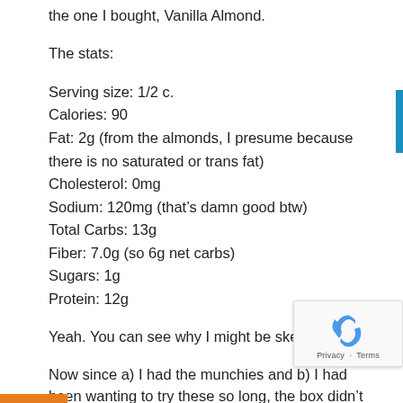the one I bought, Vanilla Almond.
The stats:
Serving size: 1/2 c.
Calories: 90
Fat: 2g (from the almonds, I presume because there is no saturated or trans fat)
Cholesterol: 0mg
Sodium: 120mg (that's damn good btw)
Total Carbs: 13g
Fiber: 7.0g (so 6g net carbs)
Sugars: 1g
Protein: 12g
Yeah. You can see why I might be skeptical.
Now since a) I had the munchies and b) I had been wanting to try these so long, the box didn't even make it home before I gave it a try.